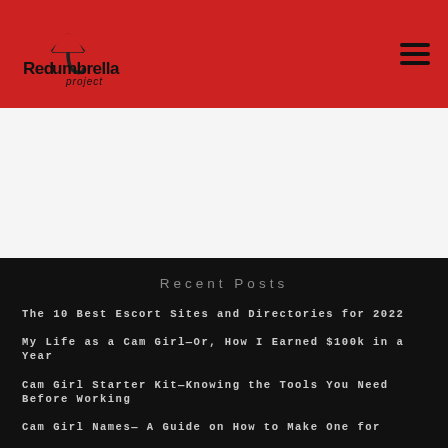Red Umbrella Project
Recent Posts
The 10 Best Escort Sites and Directories for 2022
My Life as a Cam Girl—Or, How I Earned $100k in a Year
Cam Girl Starter Kit—Knowing the Tools You Need Before Working
Cam Girl Names— A Guide on How to Make One for